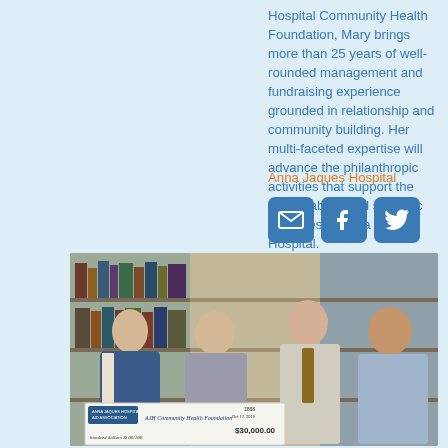Hospital Community Health Foundation, Mary brings more than 25 years of well-rounded management and fundraising experience grounded in relationship and community building. Her multi-faceted expertise will advance the philanthropic activities that support the sustainability and strategic initiatives of Anna Jaques Hospital.
Anna Jaques Hospital
[Figure (other): Social media icons: email, Facebook, Twitter in blue rounded squares]
[Figure (photo): Four people standing together smiling, with bookshelves in the background, holding a large ceremonial check from Anna Jaques Hospital Aid Association made out to AJH Community Health Foundation for $130,000.00, dated Oct 17, 2019]